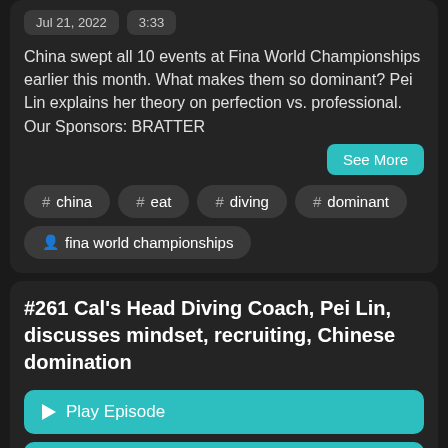Jul 21, 2022   3:33
China swept all 10 events at Fina World Championships earlier this month. What makes them so dominant? Pei Lin explains her theory on perfection vs. professional. Our Sponsors: BRATTER
See More
# china
# eat
# diving
# dominant
fina world championships
#261 Cal's Head Diving Coach, Pei Lin, discusses mindset, recruiting, Chinese domination
Play Episode
Listen later